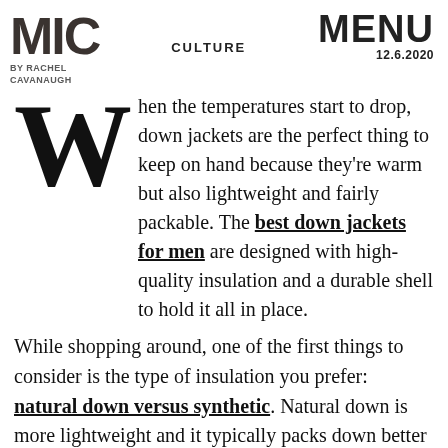MIC | BY RACHEL CAVANAUGH | CULTURE | MENU 12.6.2020
When the temperatures start to drop, down jackets are the perfect thing to keep on hand because they're warm but also lightweight and fairly packable. The best down jackets for men are designed with high-quality insulation and a durable shell to hold it all in place.
While shopping around, one of the first things to consider is the type of insulation you prefer: natural down versus synthetic. Natural down is more lightweight and it typically packs down better if you need to shove your jacket into a bag or backpack. On